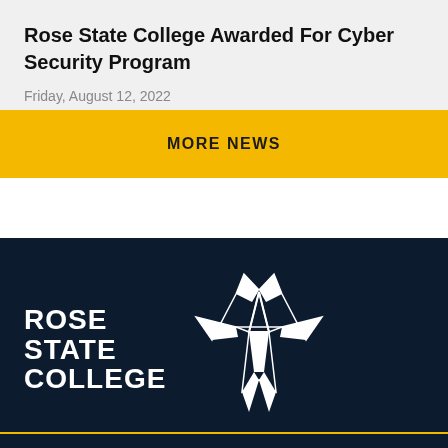Rose State College Awarded For Cyber Security Program
Friday, August 12, 2022
MORE NEWS
[Figure (logo): Rose State College logo with text ROSE STATE COLLEGE on left and a geometric bird/compass rose icon on right, white on dark navy background]